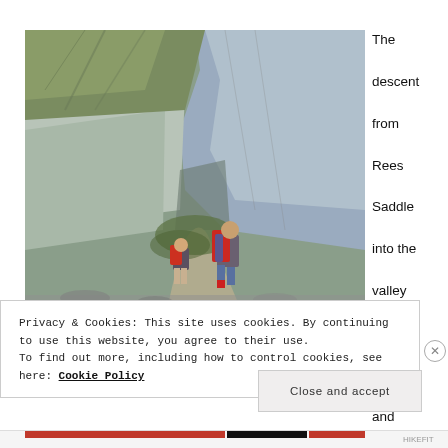[Figure (photo): Two hikers with large backpacks descending a steep rocky mountain path beside a large rock face, with scree slopes visible in the background. The hikers wear red backpacks and outdoor clothing.]
The descent from Rees Saddle into the valley was short and sharp.
Privacy & Cookies: This site uses cookies. By continuing to use this website, you agree to their use.
To find out more, including how to control cookies, see here: Cookie Policy
Close and accept